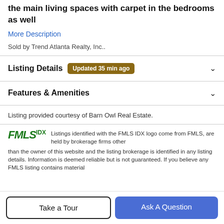the main living spaces with carpet in the bedrooms as well
More Description
Sold by Trend Atlanta Realty, Inc..
Listing Details  Updated 35 min ago
Features & Amenities
Listing provided courtesy of Barn Owl Real Estate.
Listings identified with the FMLS IDX logo come from FMLS, are held by brokerage firms other than the owner of this website and the listing brokerage is identified in any listing details. Information is deemed reliable but is not guaranteed. If you believe any FMLS listing contains material
Take a Tour
Ask A Question